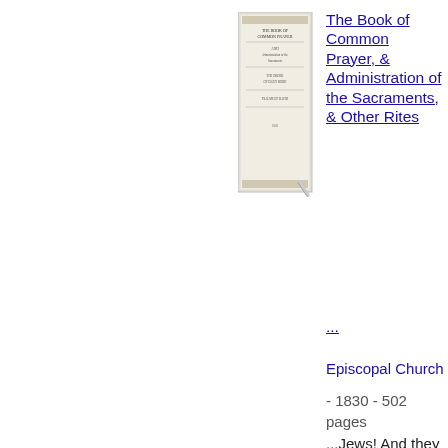[Figure (illustration): Thumbnail image of a book cover for The Book of Common Prayer]
The Book of Common Prayer, & Administration of the Sacraments, & Other Rites ...
...
Episcopal Church
- 1830 - 502 pages
...Jews! And they spit upon him, and took the reed and smote him on the head. And after that they liad mocked him, they took the robe off from him, and put...own raiment on him, and led him away to crucify him. And as they